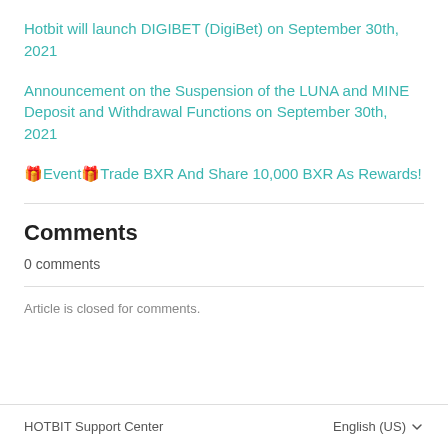Hotbit will launch DIGIBET (DigiBet) on September 30th, 2021
Announcement on the Suspension of the LUNA and MINE Deposit and Withdrawal Functions on September 30th, 2021
🎁Event🎁Trade BXR And Share 10,000 BXR As Rewards!
Comments
0 comments
Article is closed for comments.
HOTBIT Support Center   English (US)